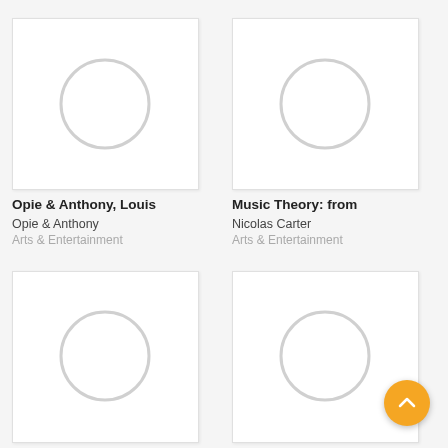[Figure (illustration): Podcast thumbnail placeholder - circle outline on white square background, top-left]
Opie & Anthony, Louis
Opie & Anthony
Arts & Entertainment
[Figure (illustration): Podcast thumbnail placeholder - circle outline on white square background, top-right]
Music Theory: from
Nicolas Carter
Arts & Entertainment
[Figure (illustration): Podcast thumbnail placeholder - circle outline on white square background, bottom-left]
Fresh Air, Flight of the
Terry Gross
[Figure (illustration): Podcast thumbnail placeholder - circle outline on white square background, bottom-right]
Opie & Anthony,
Opie & Anthony